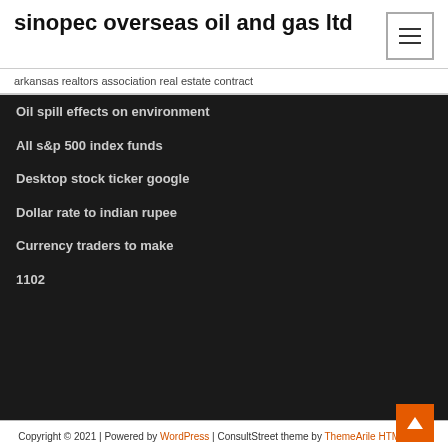sinopec overseas oil and gas ltd
arkansas realtors association real estate contract
Oil spill effects on environment
All s&p 500 index funds
Desktop stock ticker google
Dollar rate to indian rupee
Currency traders to make
1102
Copyright © 2021 | Powered by WordPress | ConsultStreet theme by ThemeArile HTML MAP